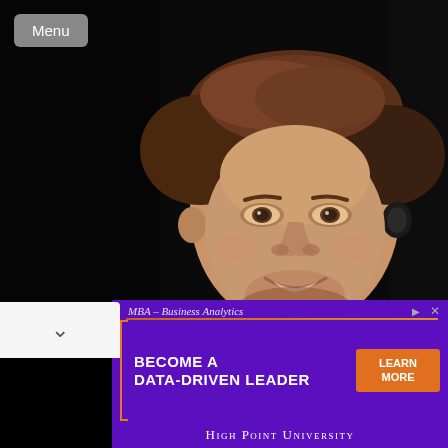[Figure (photo): Close-up portrait photo of a young man with short brown hair, smiling, wearing a light blue shirt, photographed against a dark/black background.]
Menu
[Figure (screenshot): Advertisement banner for High Point University MBA – Business Analytics program. Purple background with orange bracket accent. Text: MBA – Business Analytics, BECOME A DATA-DRIVEN LEADER, LEARN MORE button, HIGH POINT UNIVERSITY.]